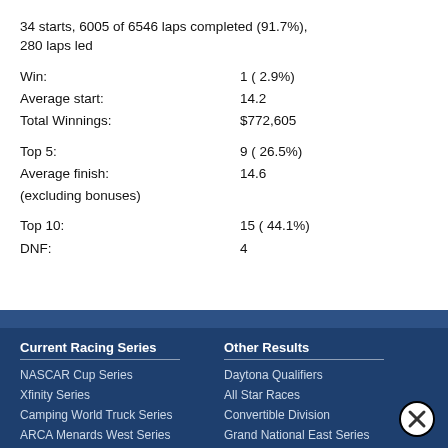34 starts, 6005 of 6546 laps completed (91.7%), 280 laps led
Win: 1 ( 2.9%)
Average start: 14.2
Total Winnings: $772,605
Top 5: 9 ( 26.5%)
Average finish: 14.6
(excluding bonuses)
Top 10: 15 ( 44.1%)
DNF: 4
Current Racing Series
NASCAR Cup Series
Xfinity Series
Camping World Truck Series
ARCA Menards West Series
Other Results
Daytona Qualifiers
All Star Races
Convertible Division
Grand National East Series